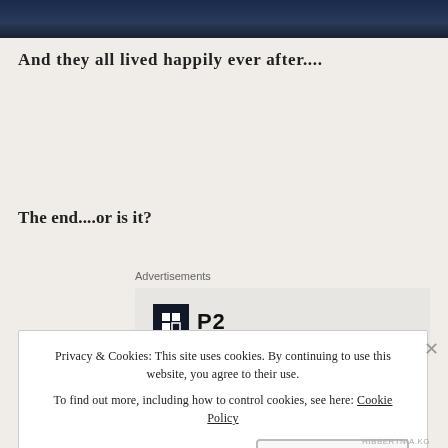[Figure (photo): Dark blue/navy image at the top of the page, appears to be a screenshot or web page header image]
And they all lived happily ever after....
The end....or is it?
Advertisements
[Figure (logo): P2 logo with dark square icon containing a grid/box symbol and bold P2 text]
Privacy & Cookies: This site uses cookies. By continuing to use this website, you agree to their use. To find out more, including how to control cookies, see here: Cookie Policy
Close and accept